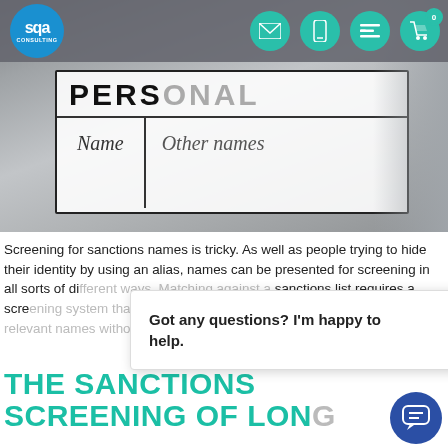SQA Consulting - navigation header with logo and icons
[Figure (photo): Blurred close-up photo of a personal information form showing fields for 'Name' and 'Other names', with black bold text 'PERSONAL' visible at top]
Screening for sanctions names is tricky. As well as people trying to hide their identity by using an alias, names can be presented for screening in all sorts of different ways. Matching against a sanctions list requires a screening system that uses sophisticated algorithms that will identify the relevant names without generating significant [...]
Got any questions? I'm happy to help.
THE SANCTIONS SCREENING OF LONG